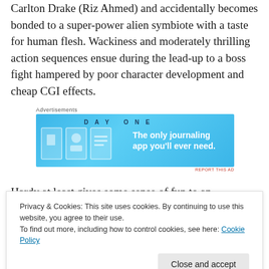Carlton Drake (Riz Ahmed) and accidentally becomes bonded to a super-power alien symbiote with a taste for human flesh. Wackiness and moderately thrilling action sequences ensue during the lead-up to a boss fight hampered by poor character development and cheap CGI effects.
[Figure (other): Day One journaling app advertisement banner with blue background, three icons (door, person, notebook), and tagline 'The only journaling app you'll ever need.']
Hardy at least gives some sense of fun to an otherwise
Privacy & Cookies: This site uses cookies. By continuing to use this website, you agree to their use.
To find out more, including how to control cookies, see here: Cookie Policy
comedy but doesn't have the courage to take any